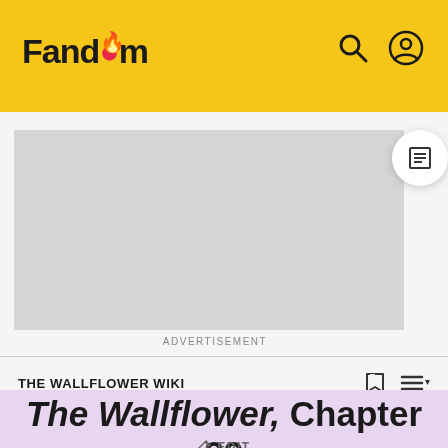Fandom
[Figure (other): Gray advertisement placeholder rectangle]
ADVERTISEMENT
THE WALLFLOWER WIKI
The Wallflower, Chapter 39
EDIT